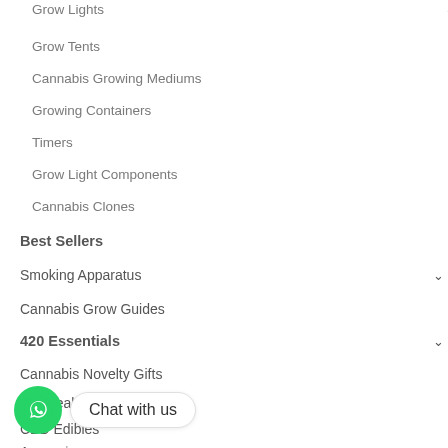Grow Lights
Grow Tents
Cannabis Growing Mediums
Growing Containers
Timers
Grow Light Components
Cannabis Clones
Best Sellers
Smoking Apparatus
Cannabis Grow Guides
420 Essentials
Cannabis Novelty Gifts
Smokeables
CBD Edibles
Apparel
Chat with us